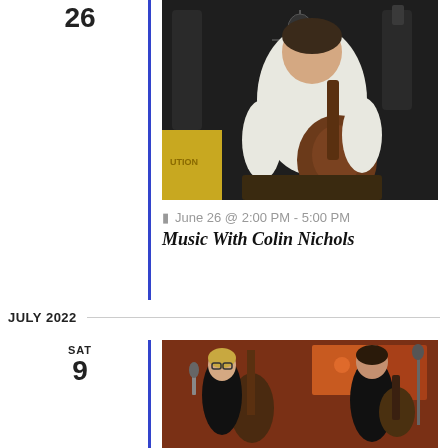26
[Figure (photo): Man in white sweatshirt playing acoustic guitar at a microphone stand in what appears to be a brewery or bar setting]
June 26 @ 2:00 PM - 5:00 PM
Music With Colin Nichols
JULY 2022
SAT
9
[Figure (photo): Two musicians performing: a woman in black dress playing upright bass and a man in black suit playing guitar, in a restaurant or gallery setting with colorful artwork on walls]